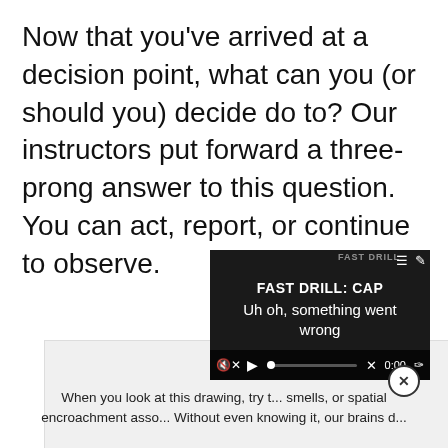Now that you've arrived at a decision point, what can you (or should you) decide do to? Our instructors put forward a three-prong answer to this question. You can act, report, or continue to observe.
[Figure (screenshot): A video placeholder area (light gray) with an overlaid video player showing 'FAST DRILL: CAP' title and an error message 'Uh oh, something went wrong'. Video controls visible at bottom with mute icon, play button, progress bar, X button, time (0:00), and fullscreen button. A close (X) button appears at top-right of the overlay.]
When you look at this drawing, try t... smells, or spatial encroachment asso... Without even knowing it, our brains d...